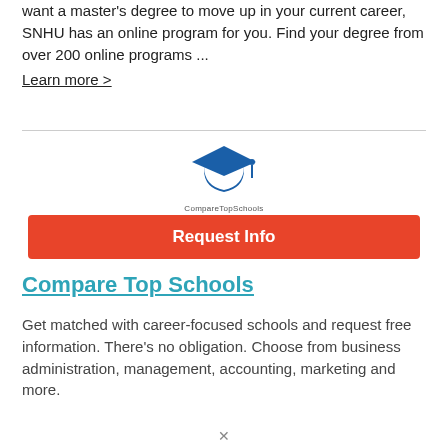want a master's degree to move up in your current career, SNHU has an online program for you. Find your degree from over 200 online programs ... Learn more >
[Figure (logo): CompareTopSchools logo: graduation cap icon in blue above the text 'CompareTopSchools']
Request Info
Compare Top Schools
Get matched with career-focused schools and request free information. There's no obligation. Choose from business administration, management, accounting, marketing and more.